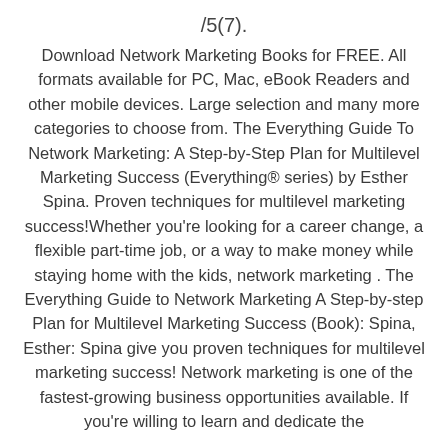/5(7).
Download Network Marketing Books for FREE. All formats available for PC, Mac, eBook Readers and other mobile devices. Large selection and many more categories to choose from. The Everything Guide To Network Marketing: A Step-by-Step Plan for Multilevel Marketing Success (Everything® series) by Esther Spina. Proven techniques for multilevel marketing success!Whether you're looking for a career change, a flexible part-time job, or a way to make money while staying home with the kids, network marketing . The Everything Guide to Network Marketing A Step-by-step Plan for Multilevel Marketing Success (Book): Spina, Esther: Spina give you proven techniques for multilevel marketing success! Network marketing is one of the fastest-growing business opportunities available. If you're willing to learn and dedicate the